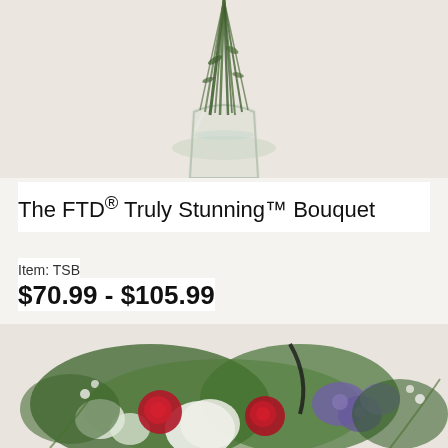[Figure (photo): Photo of The FTD Truly Stunning Bouquet showing green stems in a clear glass vase against a light beige background, cropped to show only the lower portion of the arrangement]
The FTD® Truly Stunning™ Bouquet
Item: TSB
$70.99 - $105.99
[Figure (photo): Photo of a floral arrangement featuring red roses, white hydrangeas, purple flowers, and green foliage against a light beige background]